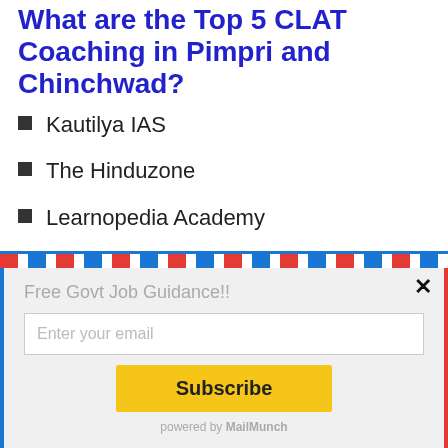What are the Top 5 CLAT Coaching in Pimpri and Chinchwad?
Kautilya IAS
The Hinduzone
Learnopedia Academy
[Figure (other): Email subscription modal with airmail border design. Contains title 'Free Govt Job Guidance!!', email input field with placeholder 'Enter your email', a yellow Subscribe button, and 'powered by MailMunch' footer. Has a close (×) button in top right corner.]